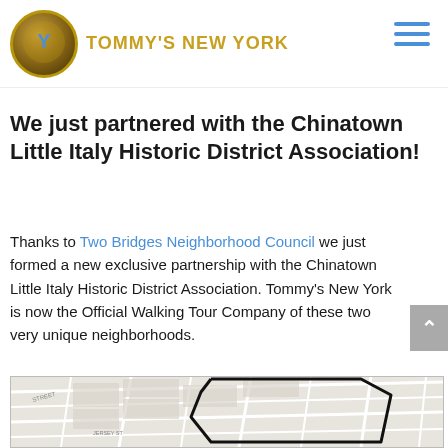TOMMY'S NEW YORK
We just partnered with the Chinatown Little Italy Historic District Association!
Thanks to Two Bridges Neighborhood Council we just formed a new exclusive partnership with the Chinatown Little Italy Historic District Association. Tommy's New York is now the Official Walking Tour Company of these two very unique neighborhoods.
[Figure (map): Street map showing the Chinatown Little Italy Historic District in New York City with a bold black outline marking the district boundary.]